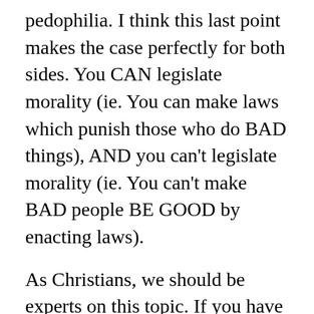pedophilia. I think this last point makes the case perfectly for both sides. You CAN legislate morality (ie. You can make laws which punish those who do BAD things), AND you can't legislate morality (ie. You can't make BAD people BE GOOD by enacting laws).
As Christians, we should be experts on this topic. If you have cracked open the Bible and read through the Old Testament, it's full of Mosaic Laws which the Israelites were utterly incapable of following.